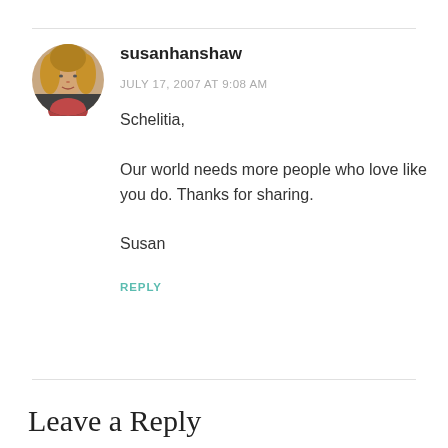[Figure (photo): Circular avatar photo of a woman with blonde hair]
susanhanshaw
JULY 17, 2007 AT 9:08 AM
Schelitia,

Our world needs more people who love like you do. Thanks for sharing.

Susan
REPLY
Leave a Reply